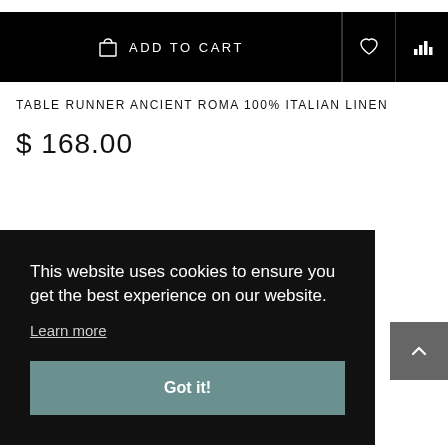[Figure (screenshot): Add to cart black bar with shopping bag icon and ADD TO CART text, plus heart and bar chart icons on the right]
TABLE RUNNER ANCIENT ROMA 100% ITALIAN LINEN
$ 168.00
This website uses cookies to ensure you get the best experience on our website. Learn more
Got it!